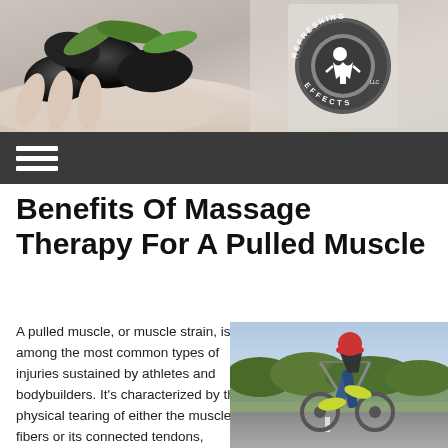[Figure (photo): Website header image: hand holding black spa stones with green leaves on a light beige background, with the Refreshing Effects LLC logo (circular logo with a massage therapist figure and text around the edge) on the right side]
[Figure (logo): Refreshing Effects LLC circular logo with massage therapist figure in center and text reading REFRESHING EFFECTS LLC around the edge]
Navigation menu bar with hamburger menu icon
Benefits Of Massage Therapy For A Pulled Muscle
A pulled muscle, or muscle strain, is among the most common types of injuries sustained by athletes and bodybuilders. It's characterized by the physical tearing of either the muscle fibers or its connected tendons, usually occurring during a
[Figure (photo): Cyclist on a road bike, close-up of legs and lower body, cycling on an open road with trees in background]